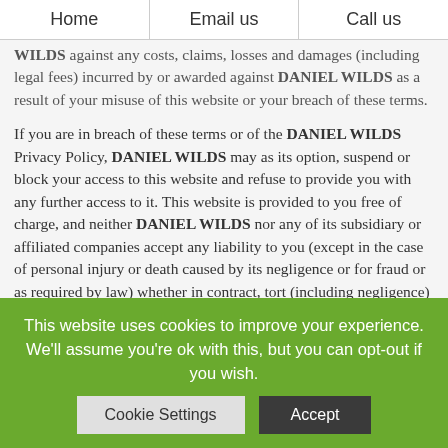Home | Email us | Call us
WILDS against any costs, claims, losses and damages (including legal fees) incurred by or awarded against DANIEL WILDS as a result of your misuse of this website or your breach of these terms.

If you are in breach of these terms or of the DANIEL WILDS Privacy Policy, DANIEL WILDS may as its option, suspend or block your access to this website and refuse to provide you with any further access to it. This website is provided to you free of charge, and neither DANIEL WILDS nor any of its subsidiary or affiliated companies accept any liability to you (except in the case of personal injury or death caused by its negligence or for fraud or as required by law) whether in contract, tort (including negligence) or otherwise, arising out of it in connection with this website. DANIEL WILDS accepts no liability for any direct, special
This website uses cookies to improve your experience. We'll assume you're ok with this, but you can opt-out if you wish.